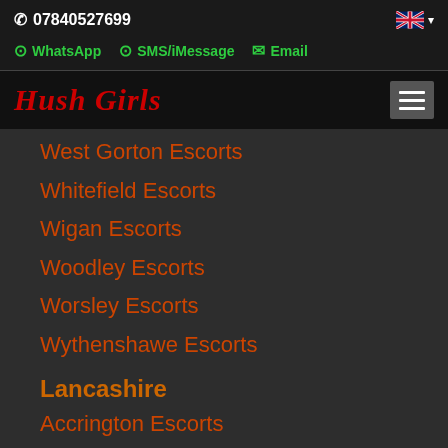07840527699
WhatsApp  SMS/iMessage  Email
Hush Girls
West Gorton Escorts
Whitefield Escorts
Wigan Escorts
Woodley Escorts
Worsley Escorts
Wythenshawe Escorts
Lancashire
Accrington Escorts
Blackburn Escorts
Lancaster Escorts